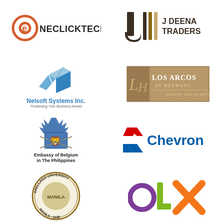[Figure (logo): Neclicktech logo with orange circle and 'e' icon, black text NECLICKTECH]
[Figure (logo): J Deena Traders logo with stylized J and vertical bars, text J DEENA TRADERS]
[Figure (logo): Nelsoft Systems Inc. logo with 3D geometric N/S shape, blue text, tagline Positioning Your Business Ahead]
[Figure (logo): Los Arcos de Hermano Resort and Events logo with gold/brown box and cursive LH monogram]
[Figure (logo): Embassy of Belgium in The Philippines logo with royal coat of arms]
[Figure (logo): Chevron logo with blue Chevron text and red/white chevron icon]
[Figure (logo): Arellano University Manila 1938 circular seal logo]
[Figure (logo): OLX logo with purple O, green L, orange X]